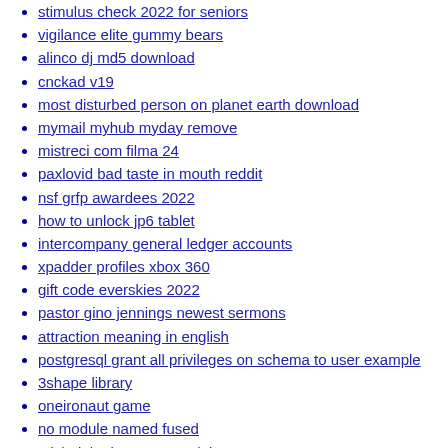stimulus check 2022 for seniors
vigilance elite gummy bears
alinco dj md5 download
cnckad v19
most disturbed person on planet earth download
mymail myhub myday remove
mistreci com filma 24
paxlovid bad taste in mouth reddit
nsf grfp awardees 2022
how to unlock jp6 tablet
intercompany general ledger accounts
xpadder profiles xbox 360
gift code everskies 2022
pastor gino jennings newest sermons
attraction meaning in english
postgresql grant all privileges on schema to user example
3shape library
oneironaut game
no module named fused
michelob ultra commercial actress
wincor nixdorf highprint 4915xe driver windows 10
nikon i11 stepper
2d model vtuber
precast concrete steps dimensions
swim club